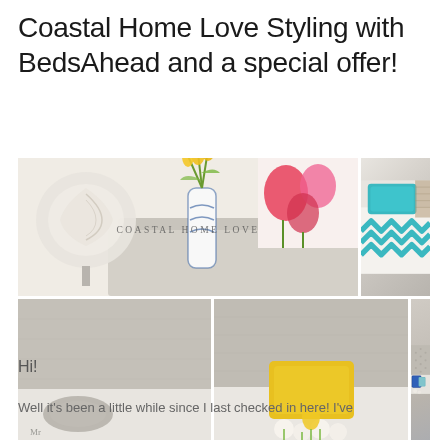Coastal Home Love Styling with BedsAhead and a special offer!
[Figure (photo): Collage of six bedroom/home decor photos showing coastal-style bedding, pillows, headboards, and decorative items. Features turquoise chevron bedding, yellow tulips, blue and white vases, grey upholstered headboards, and colorful throw pillows. A watermark reads 'COASTAL HOME LOVE'.]
Hi!
Well it's been a little while since I last checked in here!  I've